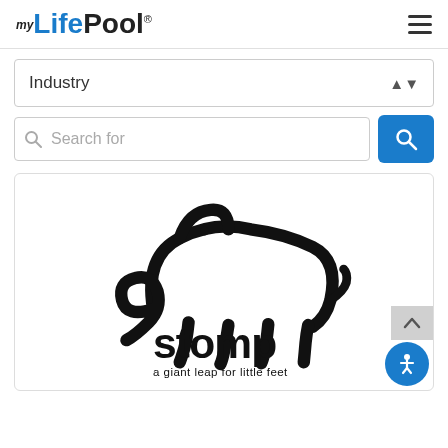[Figure (logo): myLifePool logo — 'my' in small italic black text, 'Life' in blue bold, 'Pool' in dark bold, with a registered trademark symbol]
[Figure (other): Hamburger menu icon — three horizontal dark lines]
Industry
Search for
[Figure (logo): Stomp logo — an elephant drawn in a continuous thick black line forming the word 'stomp', with tagline 'a giant leap for little feet']